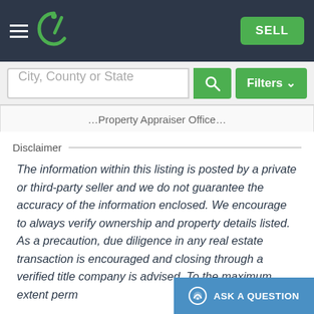SELL
City, County or State
Property Appraiser Office
Disclaimer
The information within this listing is posted by a private or third-party seller and we do not guarantee the accuracy of the information enclosed. We encourage to always verify ownership and property details listed. As a precaution, due diligence in any real estate transaction is encouraged and closing through a verified title company is advised. To the maximum extent perm